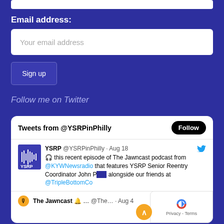Email address:
Your email address
Sign up
Follow me on Twitter
[Figure (screenshot): Twitter widget showing 'Tweets from @YSRPinPhilly' with a Follow button. A tweet from YSRP @YSRPinPhilly Aug 18 reads: this recent episode of The Jawncast podcast from @KYWNewsradio that features YSRP Senior Reentry Coordinator John P... alongside our friends at @TripleBottomCo... A nested tweet shows The Jawncast @The... Aug 4. A privacy/terms overlay with reCAPTCHA logo and scroll-to-top button is visible in the bottom-right corner.]